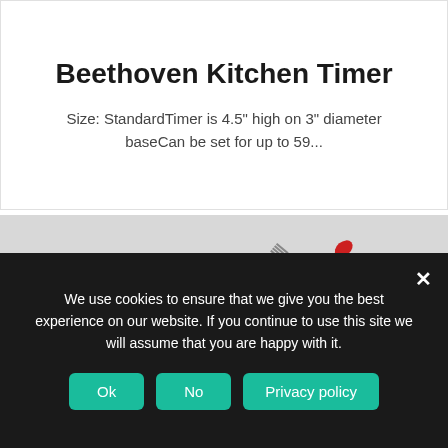Beethoven Kitchen Timer
Size: StandardTimer is 4.5" high on 3" diameter baseCan be set for up to 59...
[Figure (photo): A cozy living room scene showing a decorative kitchen utensil wall clock with red spatulas, spoons, and forks arranged in a star/sunburst pattern on a light grey wall. Below is a round wooden side table with a yellow giraffe figurine, a wicker basket containing pine cones, a loose pine cone, and a vintage-style wooden radio/speaker. A grey sofa with a patterned cushion is visible to the left.]
We use cookies to ensure that we give you the best experience on our website. If you continue to use this site we will assume that you are happy with it.